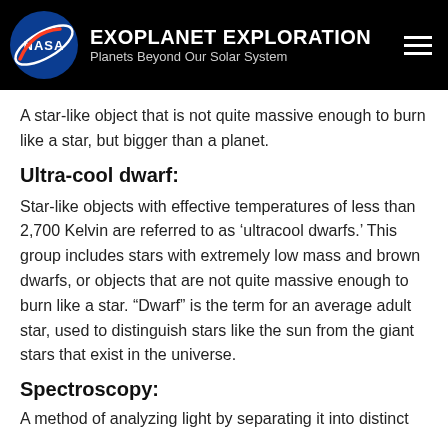EXOPLANET EXPLORATION Planets Beyond Our Solar System
A star-like object that is not quite massive enough to burn like a star, but bigger than a planet.
Ultra-cool dwarf:
Star-like objects with effective temperatures of less than 2,700 Kelvin are referred to as ‘ultracool dwarfs.’ This group includes stars with extremely low mass and brown dwarfs, or objects that are not quite massive enough to burn like a star. “Dwarf” is the term for an average adult star, used to distinguish stars like the sun from the giant stars that exist in the universe.
Spectroscopy:
A method of analyzing light by separating it into distinct